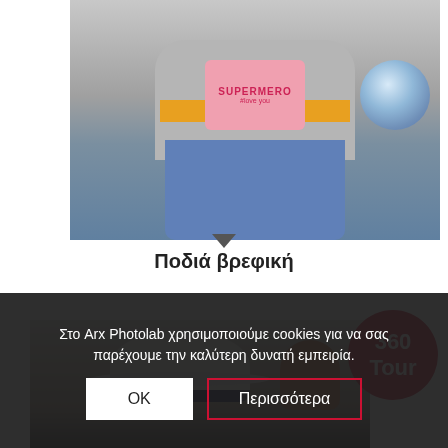[Figure (photo): Child sitting wearing a pink bib that reads SUPERMERO #love you, a gray hoodie with yellow band, blue jeans, and a globe toy nearby]
Ποδιά βρεφική
[Figure (photo): Person seen from behind wearing a white fedora hat with dark band, next to a person with reddish hair, with a 360 Tour badge overlay]
Στο Arx Photolab χρησιμοποιούμε cookies για να σας παρέχουμε την καλύτερη δυνατή εμπειρία.
OK
Περισσότερα